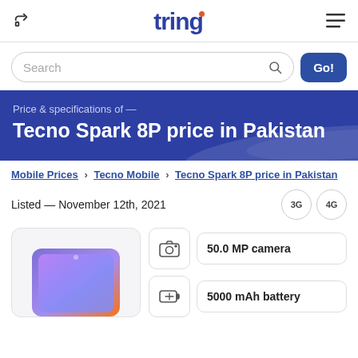tring
Search
Tecno Spark 8P price in Pakistan
Price & specifications of —
Mobile Prices > Tecno Mobile > Tecno Spark 8P price in Pakistan
Listed — November 12th, 2021
3G  4G
50.0 MP camera
5000 mAh battery